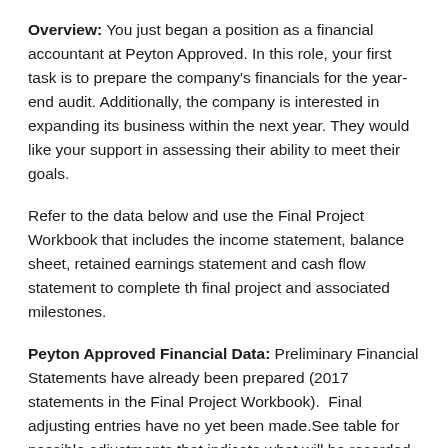Overview: You just began a position as a financial accountant at Peyton Approved. In this role, your first task is to prepare the company's financials for the year-end audit. Additionally, the company is interested in expanding its business within the next year. They would like your support in assessing their ability to meet their goals.
Refer to the data below and use the Final Project Workbook that includes the income statement, balance sheet, retained earnings statement and cash flow statement to complete the final project and associated milestones.
Peyton Approved Financial Data: Preliminary Financial Statements have already been prepared (2017 statements in the Final Project Workbook). Final adjusting entries have not yet been made. See table for possible adjustments that indicate what will be recorded at 12/31/17 (fiscal year end).